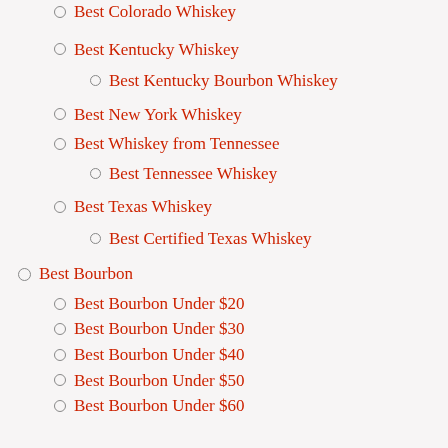Best Colorado Whiskey
Best Kentucky Whiskey
Best Kentucky Bourbon Whiskey
Best New York Whiskey
Best Whiskey from Tennessee
Best Tennessee Whiskey
Best Texas Whiskey
Best Certified Texas Whiskey
Best Bourbon
Best Bourbon Under $20
Best Bourbon Under $30
Best Bourbon Under $40
Best Bourbon Under $50
Best Bourbon Under $60